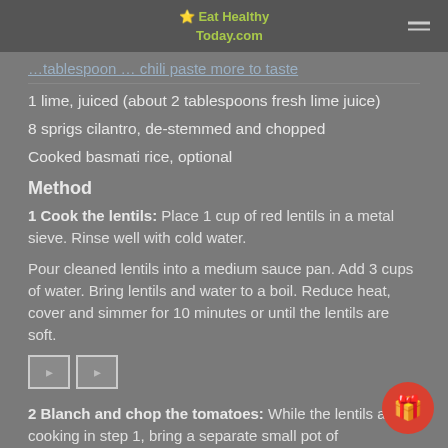Eat Healthy Today.com
…tablespoon … chili paste more to taste
1 lime, juiced (about 2 tablespoons fresh lime juice)
8 sprigs cilantro, de-stemmed and chopped
Cooked basmati rice, optional
Method
1 Cook the lentils: Place 1 cup of red lentils in a metal sieve. Rinse well with cold water.
Pour cleaned lentils into a medium sauce pan. Add 3 cups of water. Bring lentils and water to a boil. Reduce heat, cover and simmer for 10 minutes or until the lentils are soft.
[Figure (photo): Broken image placeholder]
2 Blanch and chop the tomatoes: While the lentils are cooking in step 1, bring a separate small pot of